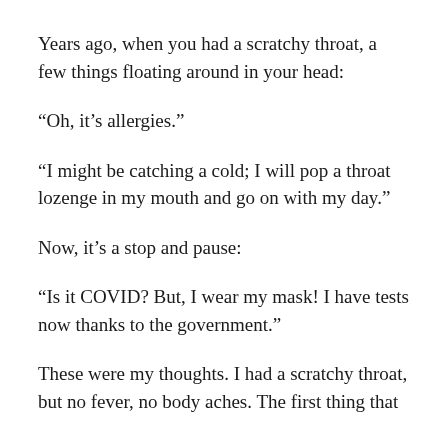Years ago, when you had a scratchy throat, a few things floating around in your head:
“Oh, it’s allergies.”
“I might be catching a cold; I will pop a throat lozenge in my mouth and go on with my day.”
Now, it’s a stop and pause:
“Is it COVID? But, I wear my mask! I have tests now thanks to the government.”
These were my thoughts. I had a scratchy throat, but no fever, no body aches. The first thing that